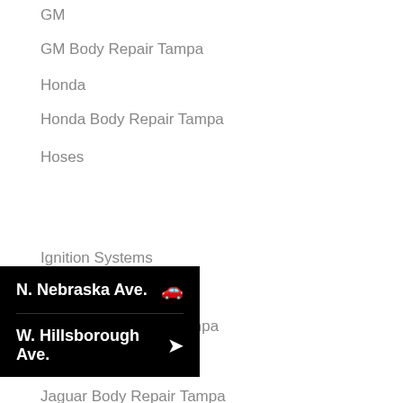GM
GM Body Repair Tampa
Honda
Honda Body Repair Tampa
Hoses
[Figure (other): Tooltip/popup overlay showing two location options: 'N. Nebraska Ave.' with a car icon and 'W. Hillsborough Ave.' with a navigation arrow icon, displayed on a black background]
Ignition Systems
Infiniti
Infiniti Body Repair Tampa
Jaguar
Jaguar Body Repair Tampa
Jeep
Jeep Body Repair Tampa
Key Reprogramming